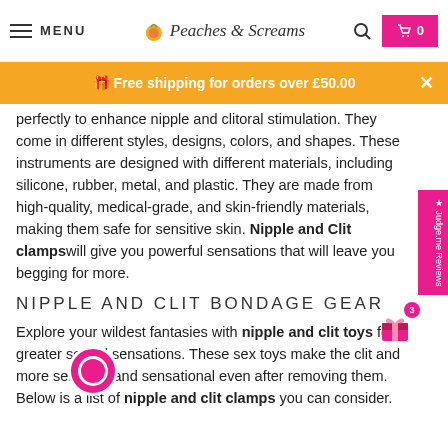MENU | Peaches & Screams | Search | Cart 0
Free shipping for orders over £50.00
perfectly to enhance nipple and clitoral stimulation. They come in different styles, designs, colors, and shapes. These instruments are designed with different materials, including silicone, rubber, metal, and plastic. They are made from high-quality, medical-grade, and skin-friendly materials, making them safe for sensitive skin. Nipple and Clit clamps will give you powerful sensations that will leave you begging for more.
NIPPLE AND CLIT BONDAGE GEAR
Explore your wildest fantasies with nipple and clit toys for greater sexual sensations. These sex toys make the clit and more sensitive and sensational even after removing them. Below is a list of nipple and clit clamps you can consider.